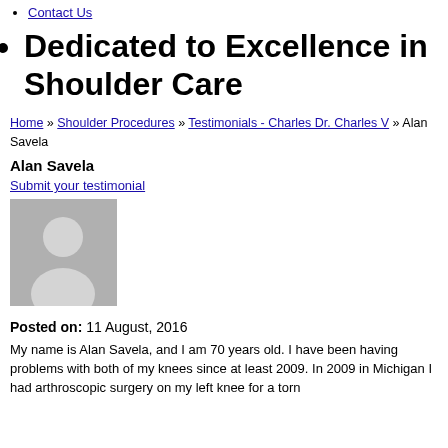Contact Us
Dedicated to Excellence in Shoulder Care
Home » Shoulder Procedures » Testimonials - Charles Dr. Charles V » Alan Savela
Alan Savela
Submit your testimonial
[Figure (photo): Generic grey avatar silhouette placeholder image]
Posted on: 11 August, 2016
My name is Alan Savela, and I am 70 years old. I have been having problems with both of my knees since at least 2009. In 2009 in Michigan I had arthroscopic surgery on my left knee for a torn